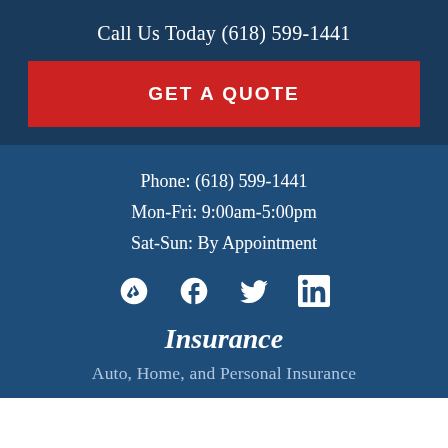Call Us Today (618) 599-1441
GET A QUOTE
Phone: (618) 599-1441
Mon-Fri: 9:00am-5:00pm
Sat-Sun: By Appointment
[Figure (illustration): Social media icons: Yelp, Facebook, Twitter, LinkedIn]
Insurance
Auto, Home, and Personal Insurance